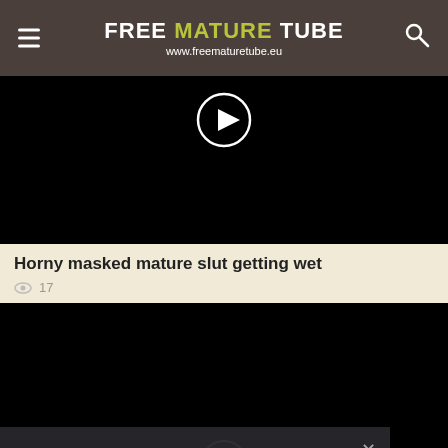FREE MATURE TUBE www.freematuretube.eu
[Figure (screenshot): Black video player area with circular play button]
Horny masked mature slut getting wet
👁 17
[Figure (screenshot): Second black video player area with play button]
This site uses cookies. By continuing to browse the site you are agreeing to our use of cookies.